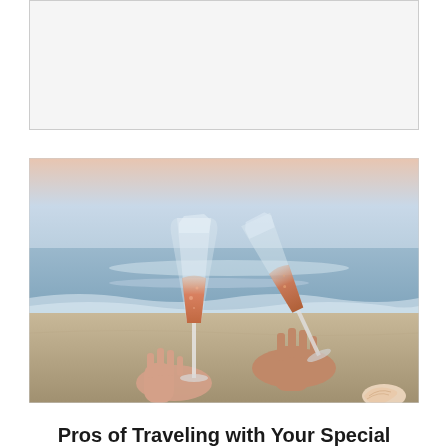[Figure (photo): Empty white box with light gray border at the top of the page]
[Figure (photo): Two hands holding champagne flutes filled with rosé wine, clinking glasses on a beach at sunset, with ocean waves in the background and a seashell visible in the lower right corner]
Pros of Traveling with Your Special